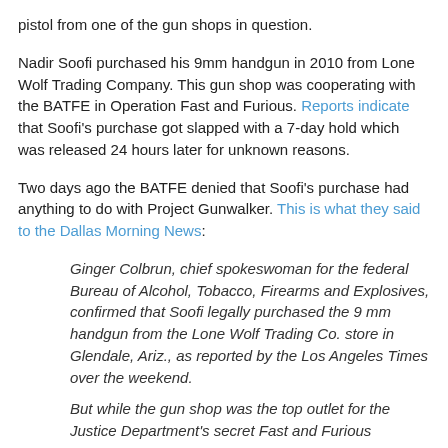pistol from one of the gun shops in question.
Nadir Soofi purchased his 9mm handgun in 2010 from Lone Wolf Trading Company. This gun shop was cooperating with the BATFE in Operation Fast and Furious. Reports indicate that Soofi's purchase got slapped with a 7-day hold which was released 24 hours later for unknown reasons.
Two days ago the BATFE denied that Soofi's purchase had anything to do with Project Gunwalker. This is what they said to the Dallas Morning News:
Ginger Colbrun, chief spokeswoman for the federal Bureau of Alcohol, Tobacco, Firearms and Explosives, confirmed that Soofi legally purchased the 9 mm handgun from the Lone Wolf Trading Co. store in Glendale, Ariz., as reported by the Los Angeles Times over the weekend.
But while the gun shop was the top outlet for the Justice Department's secret Fast and Furious